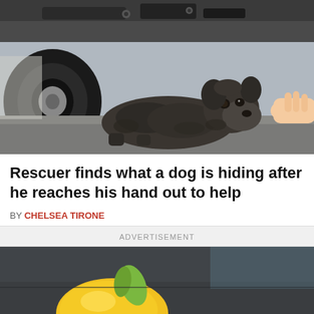[Figure (photo): A small, scruffy dark grey dog lying under a car near a tire, looking scared. A human hand is reaching toward the dog from the right side.]
Rescuer finds what a dog is hiding after he reaches his hand out to help
BY CHELSEA TIRONE
ADVERTISEMENT
[Figure (photo): A yellow object (possibly a toy or fruit) resting on a dark grey couch or chair cushion, partially visible.]
© Pawnulous   About Ads   Terms   Privacy   Do Not Sell My Info